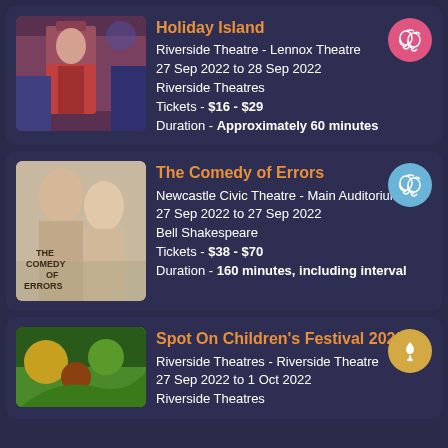[Figure (other): Event listing card 1: Holiday Island at Riverside Theatre]
Holiday Island
Riverside Theatre - Lennox Theatre
27 Sep 2022 to 28 Sep 2022
Riverside Theatres
Tickets - $16 - $29
Duration - Approximately 60 minutes
[Figure (other): Event listing card 2: The Comedy of Errors at Newcastle Civic Theatre]
The Comedy of Errors
Newcastle Civic Theatre - Main Auditorium
27 Sep 2022 to 27 Sep 2022
Bell Shakespeare
Tickets - $38 - $70
Duration - 160 minutes, including interval
[Figure (other): Event listing card 3: Spot On Children's Festival 2022 at Riverside Theatres]
Spot On Children's Festival 2022
Riverside Theatres - Riverside Theatre
27 Sep 2022 to 1 Oct 2022
Riverside Theatres